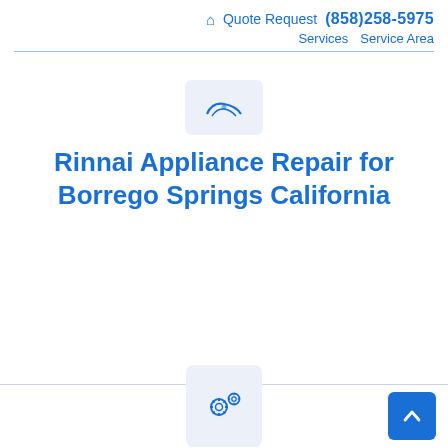🏠 Quote Request (858)258-5975 Services Service Area
[Figure (illustration): Small icon box with a decorative bird/wing motif in blue on light gray background]
Rinnai Appliance Repair for Borrego Springs California
[Figure (illustration): Two blue gear/cog icons on a light gray rounded rectangle box, representing appliance repair services]
[Figure (illustration): Back to top button — blue square with white upward chevron arrow]